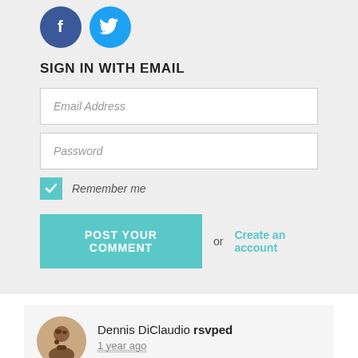[Figure (logo): Facebook and Twitter social login circle icons]
SIGN IN WITH EMAIL
Email Address (input placeholder)
Password (input placeholder)
Remember me (checkbox checked)
POST YOUR COMMENT or Create an account
Dennis DiClaudio rsvped
1 year ago